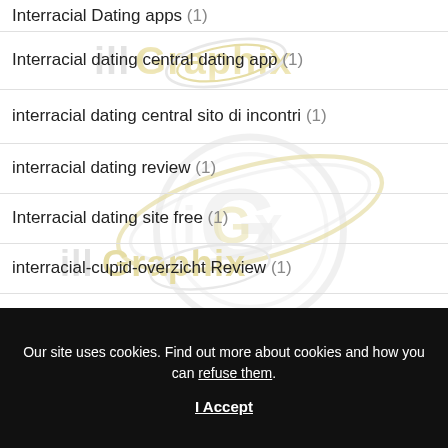Interracial Dating apps (1)
Interracial dating central dating app (1)
interracial dating central sito di incontri (1)
interracial dating review (1)
Interracial dating site free (1)
interracial-cupid-overzicht Review (1)
interracial-dating.net match dating site (1)
Our site uses cookies. Find out more about cookies and how you can refuse them.
I Accept